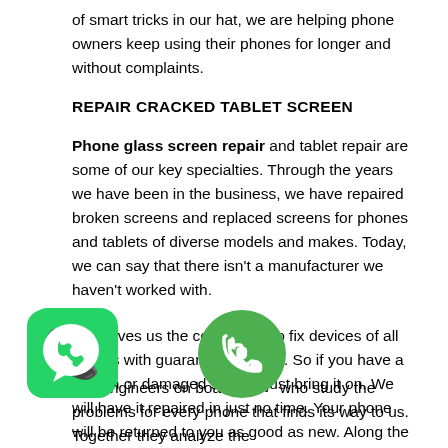of smart tricks in our hat, we are helping phone owners keep using their phones for longer and without complaints.
REPAIR CRACKED TABLET SCREEN
Phone glass screen repair and tablet repair are some of our key specialties. Through the years we have been in the business, we have repaired broken screens and replaced screens for phones and tablets of diverse models and makes. Today, we can say that there isn't a manufacturer we haven't worked with.
This gives us the confidence to fix devices of all brands with guaranteed results. So if you have a broken or damaged screen, just bring it on. We will have it repaired in just no time. Your phone will be returned to you as good as new. Along the way, if we find any other problems that you may have missed, we will get that sorted too if you'd like. After all, preemptive phone care is our motto.
[Figure (logo): WhatsApp logo icon - green circle with white phone handset]
[Figure (logo): Green circle with white phone handset icon]
ave engineers on board wi  who study the problems for every phone that finds its way to us. Together they analyze the